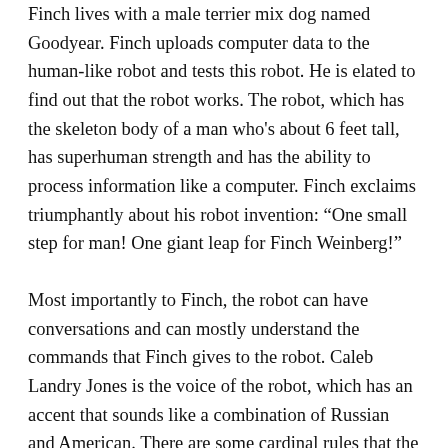Finch lives with a male terrier mix dog named Goodyear. Finch uploads computer data to the human-like robot and tests this robot. He is elated to find out that the robot works. The robot, which has the skeleton body of a man who's about 6 feet tall, has superhuman strength and has the ability to process information like a computer. Finch exclaims triumphantly about his robot invention: “One small step for man! One giant leap for Finch Weinberg!”
Most importantly to Finch, the robot can have conversations and can mostly understand the commands that Finch gives to the robot. Caleb Landry Jones is the voice of the robot, which has an accent that sounds like a combination of Russian and American. There are some cardinal rules that the robot has been programmed to always follow: A robot cannot harm a human. A robot, through inaction, cannot allow a human to be killed. And the most important command that Finch has taught this robot is to always take care of Finch’s dog Goodyear, no